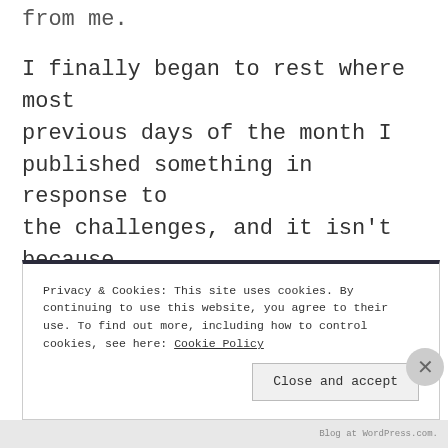from me.
I finally began to rest where most previous days of the month I published something in response to the challenges, and it isn't because of them, it is just a lot of work to keep those up again and again. That's why it's a challenge, though.
Privacy & Cookies: This site uses cookies. By continuing to use this website, you agree to their use. To find out more, including how to control cookies, see here: Cookie Policy
Close and accept